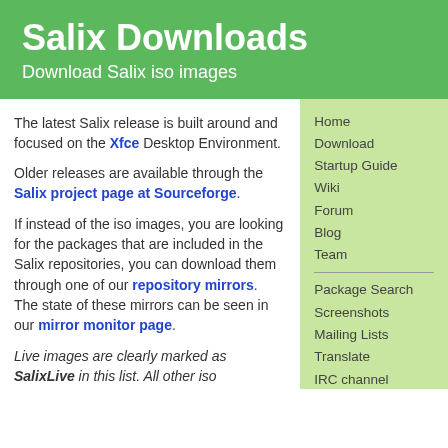Salix Downloads
Download Salix iso images
The latest Salix release is built around and focused on the Xfce Desktop Environment.
Older releases are available through the Salix project page at Sourceforge.
If instead of the iso images, you are looking for the packages that are included in the Salix repositories, you can download them through one of our repository mirrors. The state of these mirrors can be seen in our mirror monitor page.
Live images are clearly marked as SalixLive in this list. All other iso
Home
Download
Startup Guide
Wiki
Forum
Blog
Team
Package Search
Screenshots
Mailing Lists
Translate
IRC channel
Sourceforge Project Page
Package Submissions
Bugtracker